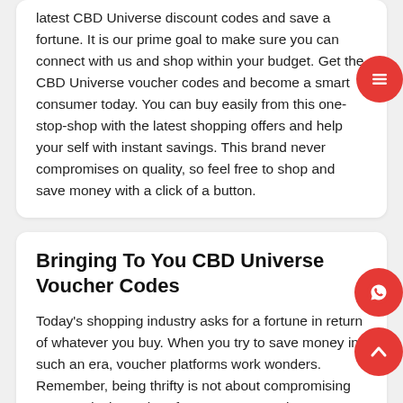latest CBD Universe discount codes and save a fortune. It is our prime goal to make sure you can connect with us and shop within your budget. Get the CBD Universe voucher codes and become a smart consumer today. You can buy easily from this one-stop-shop with the latest shopping offers and help your self with instant savings. This brand never compromises on quality, so feel free to shop and save money with a click of a button.
Bringing To You CBD Universe Voucher Codes
Today's shopping industry asks for a fortune in return of whatever you buy. When you try to save money in such an era, voucher platforms work wonders. Remember, being thrifty is not about compromising on your desires. Therefore, you can continue to purchase from your favourite shopping stores without bargaining on the quality.
Undoubtedly, GoGetDeals provides you with a better way to